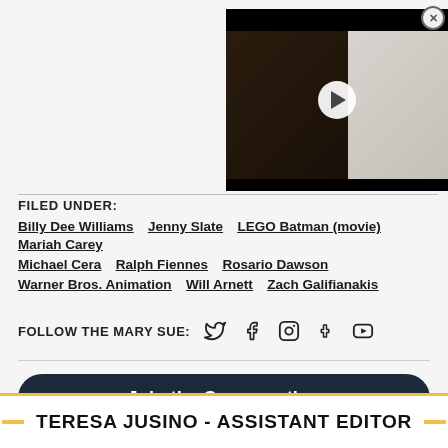[Figure (screenshot): Embedded video player thumbnail showing two people being interviewed, with a play button overlay and close (X) button]
FILED UNDER:
Billy Dee Williams  Jenny Slate  LEGO Batman (movie)  Mariah Carey  Michael Cera  Ralph Fiennes  Rosario Dawson  Warner Bros. Animation  Will Arnett  Zach Galifianakis
FOLLOW THE MARY SUE:
Join the Conversation
TERESA JUSINO - ASSISTANT EDITOR